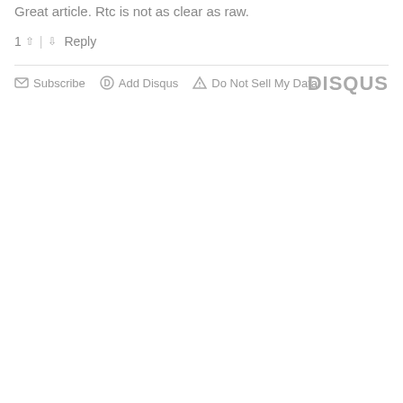Great article. Rtc is not as clear as raw.
1 ↑ | ↓ Reply
✉ Subscribe  Ⓓ Add Disqus  ⚠ Do Not Sell My Data   DISQUS